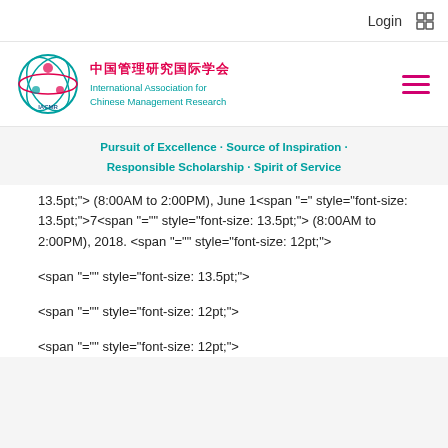Login
[Figure (logo): IACMR logo with Chinese and English text: 中国管理研究国际学会 International Association for Chinese Management Research]
Pursuit of Excellence · Source of Inspiration · Responsible Scholarship · Spirit of Service
13.5pt;"> (8:00AM to 2:00PM), June 1<span "="" style="font-size: 13.5pt;">7<span "="" style="font-size: 13.5pt;"> (8:00AM to 2:00PM), 2018. <span "="" style="font-size: 12pt;">
<span "="" style="font-size: 13.5pt;">
<span "="" style="font-size: 12pt;">
<span "="" style="font-size: 12pt;">